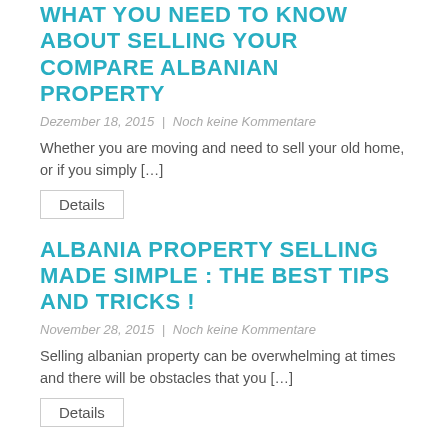WHAT YOU NEED TO KNOW ABOUT SELLING YOUR COMPARE ALBANIAN PROPERTY
Dezember 18, 2015  |  Noch keine Kommentare
Whether you are moving and need to sell your old home, or if you simply […]
Details
ALBANIA PROPERTY SELLING MADE SIMPLE : THE BEST TIPS AND TRICKS !
November 28, 2015  |  Noch keine Kommentare
Selling albanian property can be overwhelming at times and there will be obstacles that you […]
Details
THE SECRETS OF ALBANIAN PROPERTY : SELLING A HOME
November 18, 2015  |  Noch keine Kommentare
When the day comes to part ways with that…